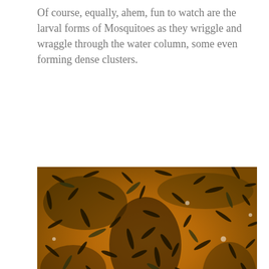Of course, equally, ahem, fun to watch are the larval forms of Mosquitoes as they wriggle and wraggle through the water column, some even forming dense clusters.
[Figure (photo): Close-up photograph of a dense cluster of mosquito larvae wriggling in amber/orange-colored water with leaf litter visible. Photo credit: © Leigh Macmillan Harri]
If you do some container dipping at a vernal pool near you in order to take a closer look, I trust you won't dump those onto the leaf litter rather than